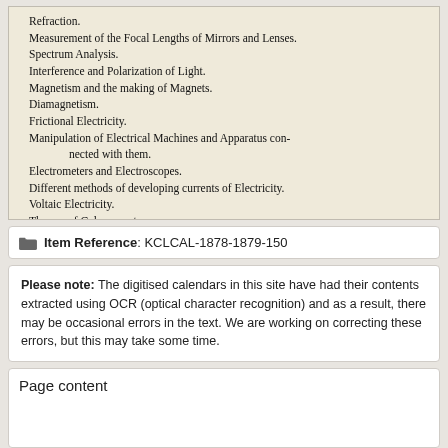[Figure (photo): Scanned page from a 19th-century educational calendar showing a list of physics topics including Refraction, Measurement of Focal Lengths, Spectrum Analysis, Interference and Polarization of Light, Magnetism, Diamagnetism, Frictional Electricity, Manipulation of Electrical Machines, Electrometers, methods of developing currents, Voltaic Electricity, Galvanometers, and Measurement of the Strength of Currents.]
Item Reference: KCLCAL-1878-1879-150
Please note: The digitised calendars in this site have had their contents extracted using OCR (optical character recognition) and as a result, there may be occasional errors in the text. We are working on correcting these errors, but this may take some time.
Page content